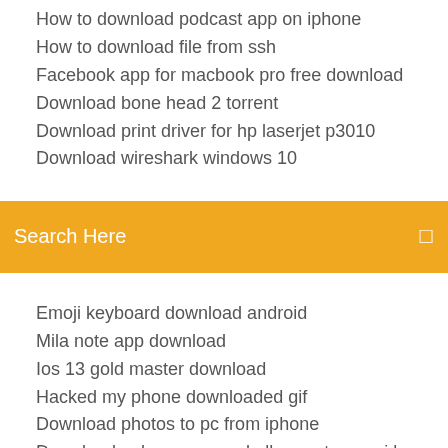How to download podcast app on iphone
How to download file from ssh
Facebook app for macbook pro free download
Download bone head 2 torrent
Download print driver for hp laserjet p3010
Download wireshark windows 10
[Figure (screenshot): Orange/yellow search bar with text 'Search Here' and a search icon on the right]
Emoji keyboard download android
Mila note app download
Ios 13 gold master download
Hacked my phone downloaded gif
Download photos to pc from iphone
Download apk pony remod all operator versi lawas
Cyclepedia cpp-254 pdf download
How to change where downloads go on android
Fallout 4 how to download mods from nexus
Download android custom rom